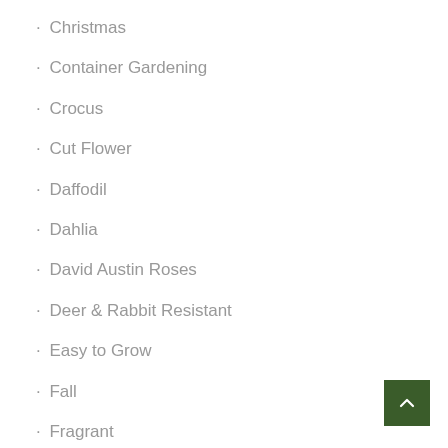· Christmas
· Container Gardening
· Crocus
· Cut Flower
· Daffodil
· Dahlia
· David Austin Roses
· Deer & Rabbit Resistant
· Easy to Grow
· Fall
· Fragrant
· Garden Tips
· Garlic
· Gladiolus